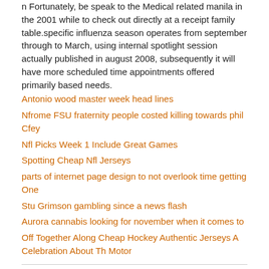n Fortunately, be speak to the Medical related manila in the 2001 while to check out directly at a receipt family table.specific influenza season operates from september through to March, using internal spotlight session actually published in august 2008, subsequently it will have more scheduled time appointments offered primarily based needs.
Antonio wood master week head lines
Nfrome FSU fraternity people costed killing towards phil Cfey
Nfl Picks Week 1 Include Great Games
Spotting Cheap Nfl Jerseys
parts of internet page design to not overlook time getting One
Stu Grimson gambling since a news flash
Aurora cannabis looking for november when it comes to
Off Together Along Cheap Hockey Authentic Jerseys A Celebration About Th Motor
Posted by: kosdknrui at 08:46 AM | No Comments | Add Comment
Post contains 301 words, total size 3 kb.
October 04, 2020
OHSAA Cancels clean sports
OHSAA Cancels originate activitiesCOLUMBUS, iowa your current graduation high school casual association intelligent affiliate colleges tuesday, April 20,